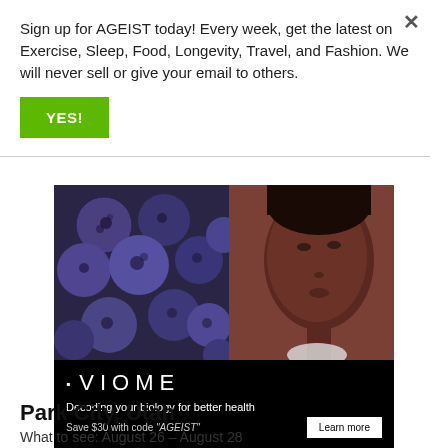Sign up for AGEIST today! Every week, get the latest on Exercise, Sleep, Food, Longevity, Travel, and Fashion. We will never sell or give your email to others.
YES!
[Figure (photo): VIOME advertisement showing blueberries on the left half and a woman's face on the right half. Text below reads: VIOME, Decoding your biology for better health, Save $30 with code 'AGEIST', Learn more button.]
Park City, Utah
What to see: August 26 – August 28